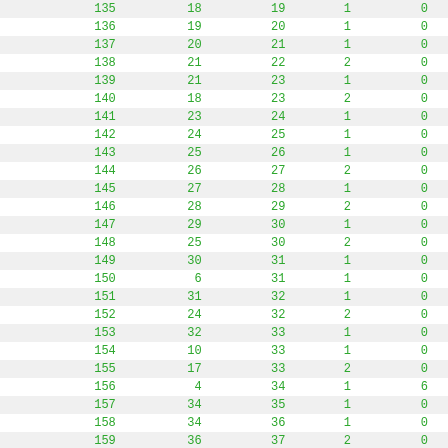| # | col1 | col2 | col3 | col4 |
| --- | --- | --- | --- | --- |
| 135 | 18 | 19 | 1 | 0 |
| 136 | 19 | 20 | 1 | 0 |
| 137 | 20 | 21 | 1 | 0 |
| 138 | 21 | 22 | 2 | 0 |
| 139 | 21 | 23 | 1 | 0 |
| 140 | 18 | 23 | 2 | 0 |
| 141 | 23 | 24 | 1 | 0 |
| 142 | 24 | 25 | 1 | 0 |
| 143 | 25 | 26 | 1 | 0 |
| 144 | 26 | 27 | 2 | 0 |
| 145 | 27 | 28 | 1 | 0 |
| 146 | 28 | 29 | 2 | 0 |
| 147 | 29 | 30 | 1 | 0 |
| 148 | 25 | 30 | 2 | 0 |
| 149 | 30 | 31 | 1 | 0 |
| 150 | 6 | 31 | 1 | 0 |
| 151 | 31 | 32 | 1 | 0 |
| 152 | 24 | 32 | 2 | 0 |
| 153 | 32 | 33 | 1 | 0 |
| 154 | 10 | 33 | 1 | 0 |
| 155 | 17 | 33 | 2 | 0 |
| 156 | 4 | 34 | 1 | 6 |
| 157 | 34 | 35 | 1 | 0 |
| 158 | 34 | 36 | 1 | 0 |
| 159 | 36 | 37 | 2 | 0 |
| 160 | 36 | 38 | 1 | 0 |
| 161 | 38 | 39 | 1 | 0 |
| 162 | 39 | 40 | 2 | 0 |
| 163 | 40 | 41 | 1 | 0 |
| 164 | 41 | 42 | 2 | 0 |
| 165 | 42 | 43 | 1 | 0 |
| 166 | 38 | 43 | 2 | 0 |